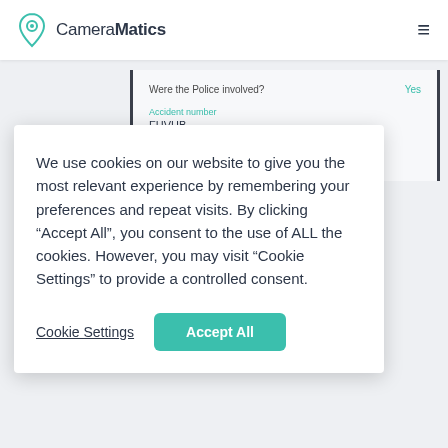[Figure (screenshot): CameraMatics logo with teal location pin icon and company name]
[Figure (screenshot): Background card showing police involvement details: Were the Police involved? Yes, Accident number FHVHB, Police ID FHBCHNB]
We use cookies on our website to give you the most relevant experience by remembering your preferences and repeat visits. By clicking “Accept All”, you consent to the use of ALL the cookies. However, you may visit “Cookie Settings” to provide a controlled consent.
Cookie Settings
Accept All